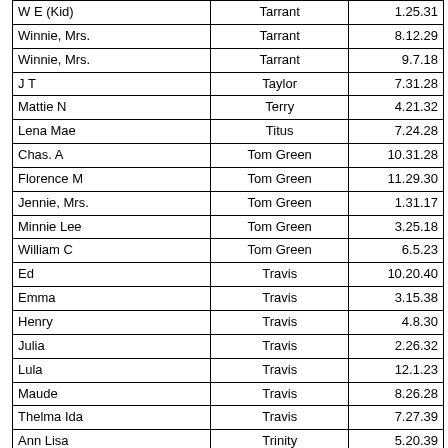| W E (Kid) | Tarrant | 1.25.31 |
| Winnie, Mrs. | Tarrant | 8.12.29 |
| Winnie, Mrs. | Tarrant | 9.7.18 |
| J T | Taylor | 7.31.28 |
| Mattie N | Terry | 4.21.32 |
| Lena Mae | Titus | 7.24.28 |
| Chas. A | Tom Green | 10.31.28 |
| Florence M | Tom Green | 11.29.30 |
| Jennie, Mrs. | Tom Green | 1.31.17 |
| Minnie Lee | Tom Green | 3.25.18 |
| William C | Tom Green | 6.5.23 |
| Ed | Travis | 10.20.40 |
| Emma | Travis | 3.15.38 |
| Henry | Travis | 4.8.30 |
| Julia | Travis | 2.26.32 |
| Lula | Travis | 12.1.23 |
| Maude | Travis | 8.26.28 |
| Thelma Ida | Travis | 7.27.39 |
| Ann Lisa | Trinity | 5.20.39 |
| Lewis | Tylor | 9.20.22 |
| E D | Van Zandt | 11.28.25 |
| Jno, Inf of | Van Zandt | 9.22.19 |